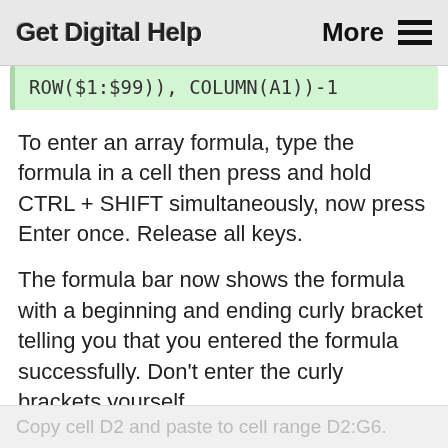Get Digital Help  More ≡
To enter an array formula, type the formula in a cell then press and hold CTRL + SHIFT simultaneously, now press Enter once. Release all keys.
The formula bar now shows the formula with a beginning and ending curly bracket telling you that you entered the formula successfully. Don't enter the curly brackets yourself.
Copy cell D2 and paste to cell range D2:G6.